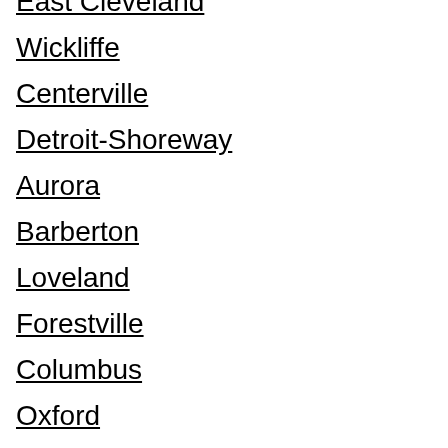East Cleveland
Wickliffe
Centerville
Detroit-Shoreway
Aurora
Barberton
Loveland
Forestville
Columbus
Oxford
Coshocton